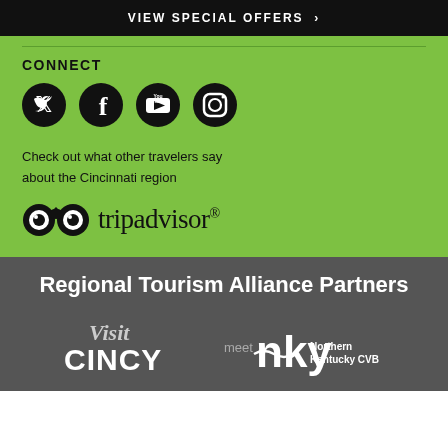[Figure (infographic): Black banner with white bold uppercase text 'VIEW SPECIAL OFFERS ›']
CONNECT
[Figure (infographic): Four social media icons in black circles: Twitter, Facebook, YouTube, Instagram]
Check out what other travelers say about the Cincinnati region
[Figure (logo): TripAdvisor logo with owl eyes icon and tripadvisor® wordmark]
Regional Tourism Alliance Partners
[Figure (logo): Visit Cincy logo and meet NKY Northern Kentucky CVB logo side by side]